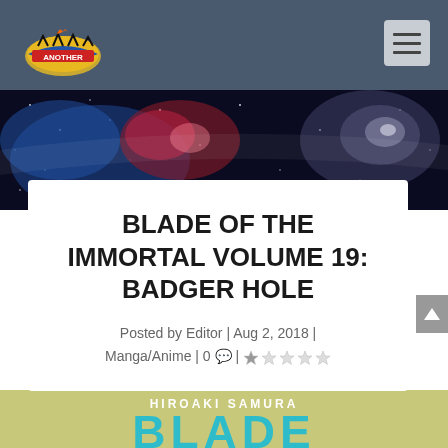Another Universe - navigation header with logo and hamburger menu
[Figure (photo): Galaxy/nebula space image banner with stars and colorful nebula clouds]
BLADE OF THE IMMORTAL VOLUME 19: BADGER HOLE
Posted by Editor | Aug 2, 2018 | Manga/Anime | 0 💬 | ★☆☆☆☆
[Figure (photo): Book cover for Blade of the Immortal Volume 19: Badger Hole by Hiroaki Samura, showing teal/turquoise stylized text on olive/tan background]